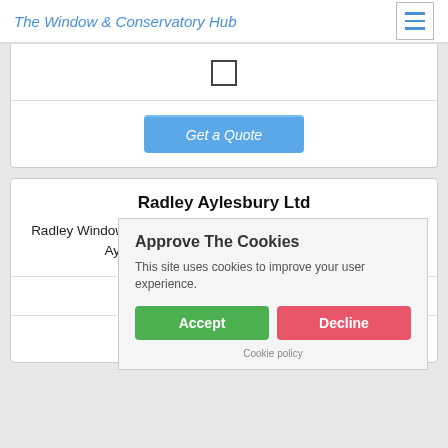The Window & Conservatory Hub
[Figure (screenshot): Checkbox input element centered on white card area]
[Figure (screenshot): Get a Quote button in blue/light-blue color]
Radley Aylesbury Ltd
Radley Windows, 59 Edison Road, Rabans Lane Industrial Area, Aylesbury, Buckinghamshire, HP19 8TE
10.0
[Figure (screenshot): Five grey/empty star rating icons]
Approve The Cookies
This site uses cookies to improve your user experience.
Accept  Decline
Cookie policy